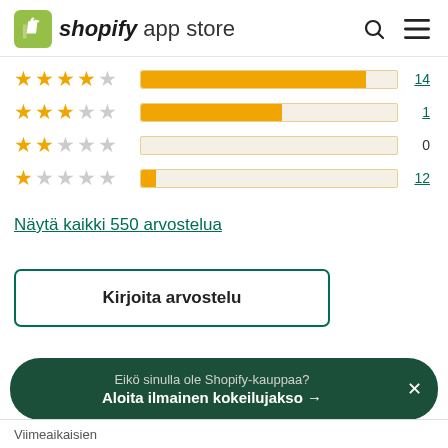shopify app store
[Figure (infographic): Star rating bars showing 4-star: 14 reviews, 3-star: 1 review, 2-star: 0 reviews, 1-star: 12 reviews]
Näytä kaikki 550 arvostelua
Kirjoita arvostelu
Eikö sinulla ole Shopify-kauppaa?
Aloita ilmainen kokeilujakso →
Viimeaikaisien